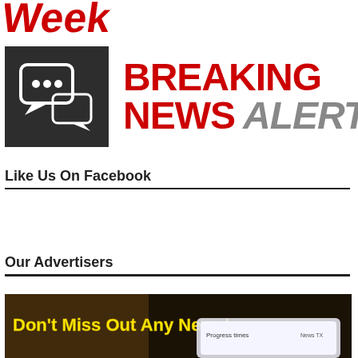[Figure (logo): Partial 'Week' logo in red brushstroke style at top]
[Figure (infographic): Breaking News Alerts graphic with dark chat bubble icon on left and red/gray BREAKING NEWS ALERTS text on right]
Like Us On Facebook
Our Advertisers
[Figure (photo): Advertisement banner: 'Don't Miss Out Any News!' in yellow text on dark background, with a phone showing Progress Times website]